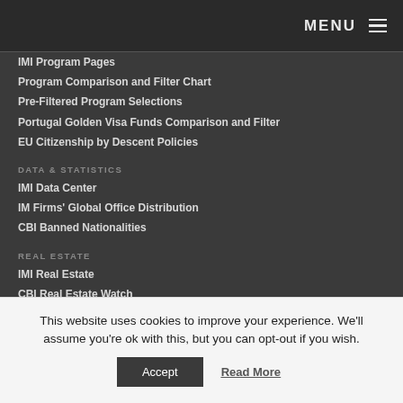MENU
IMI Program Pages
Program Comparison and Filter Chart
Pre-Filtered Program Selections
Portugal Golden Visa Funds Comparison and Filter
EU Citizenship by Descent Policies
DATA & STATISTICS
IMI Data Center
IM Firms' Global Office Distribution
CBI Banned Nationalities
REAL ESTATE
IMI Real Estate
CBI Real Estate Watch
Approved CBI Real Estate Developments
This website uses cookies to improve your experience. We'll assume you're ok with this, but you can opt-out if you wish.
Accept | Read More